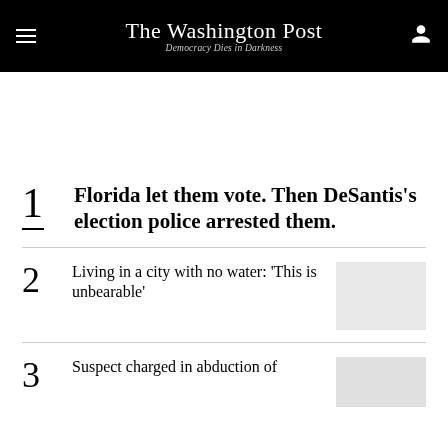The Washington Post — Democracy Dies in Darkness
1 Florida let them vote. Then DeSantis's election police arrested them.
2 Living in a city with no water: 'This is unbearable'
3 Suspect charged in abduction of